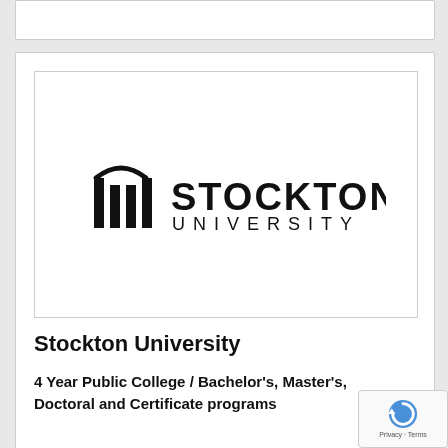[Figure (logo): Stockton University logo — black stylized arch/columns icon to the left of the text 'STOCKTON UNIVERSITY' in bold uppercase letters]
Stockton University
4 Year Public College / Bachelor's, Master's, Doctoral and Certificate programs
Stockton University is New Jersey's